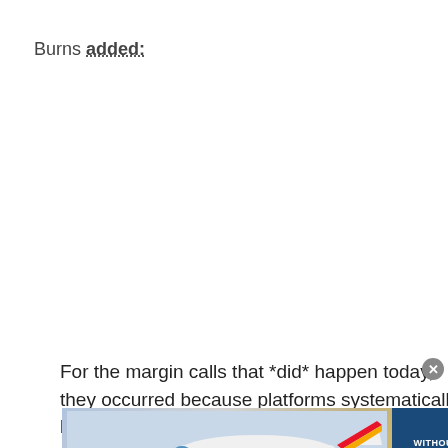Burns added:
For the margin calls that *did* happen today, they occurred because platforms systematically banned retail investors from purchasing $GME
[Figure (photo): Advertisement overlay showing a cargo airplane being loaded, with a dark blue panel on the right reading 'WITHOUT REGARD TO POLITICS, RELIGION, OR ABILITY TO PAY']